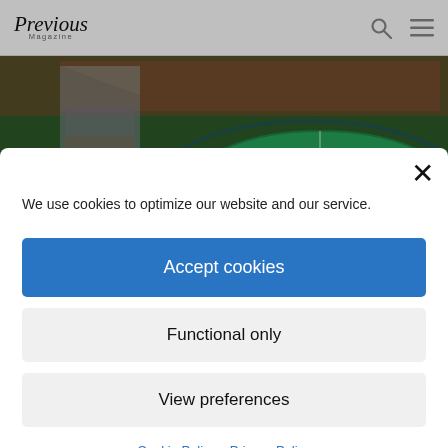Previous Magazine
Some of International Football's Most-shocking Results
We use cookies to optimize our website and our service.
Accept cookies
Functional only
View preferences
Cookie Policy  Privacy Policy